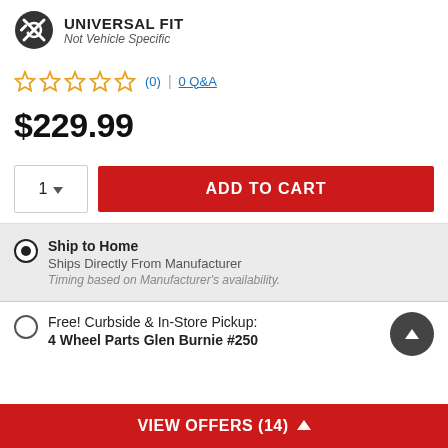[Figure (logo): Universal Fit badge icon — dark circle with wrench and X symbol, followed by UNIVERSAL FIT bold text and 'Not Vehicle Specific' italic subtitle]
[Figure (other): Five empty yellow star rating icons]
(0) | 0 Q&A
$229.99
1 (quantity dropdown) | ADD TO CART (button)
Ship to Home
Ships Directly From Manufacturer
Timing based on Manufacturer's availability.
Free! Curbside & In-Store Pickup:
4 Wheel Parts Glen Burnie #250
VIEW OFFERS (14)